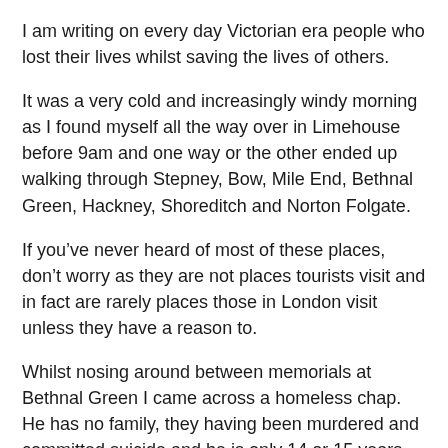I am writing on every day Victorian era people who lost their lives whilst saving the lives of others.
It was a very cold and increasingly windy morning as I found myself all the way over in Limehouse before 9am and one way or the other ended up walking through Stepney, Bow, Mile End, Bethnal Green, Hackney, Shoreditch and Norton Folgate.
If you’ve never heard of most of these places, don’t worry as they are not places tourists visit and in fact are rarely places those in London visit unless they have a reason to.
Whilst nosing around between memorials at Bethnal Green I came across a homeless chap. He has no family, they having been murdered and committed suicide and he is only 14 or 15 years older than myself.